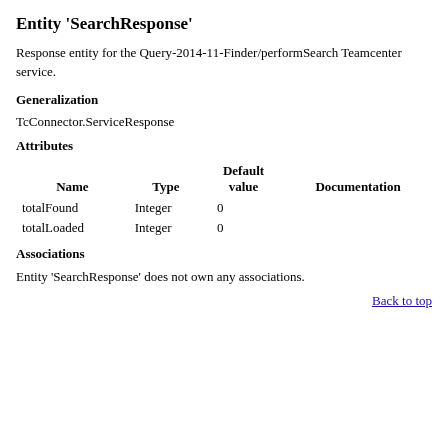Entity 'SearchResponse'
Response entity for the Query-2014-11-Finder/performSearch Teamcenter service.
Generalization
TcConnector.ServiceResponse
Attributes
| Name | Type | Default value | Documentation |
| --- | --- | --- | --- |
| totalFound | Integer | 0 |  |
| totalLoaded | Integer | 0 |  |
Associations
Entity 'SearchResponse' does not own any associations.
Back to top